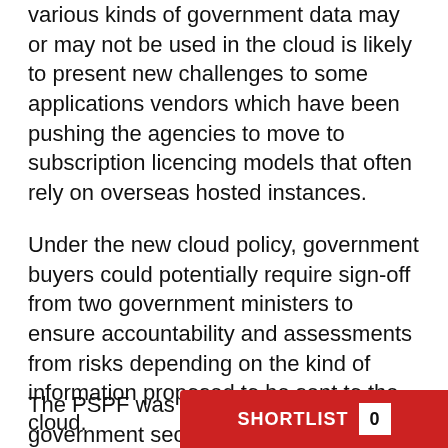various kinds of government data may or may not be used in the cloud is likely to present new challenges to some applications vendors which have been pushing the agencies to move to subscription licencing models that often rely on overseas hosted instances.
Under the new cloud policy, government buyers could potentially require sign-off from two government ministers to ensure accountability and assessments from risks depending on the kind of information proposed to be sent to the cloud.
The PSPF was the bi… government securit…